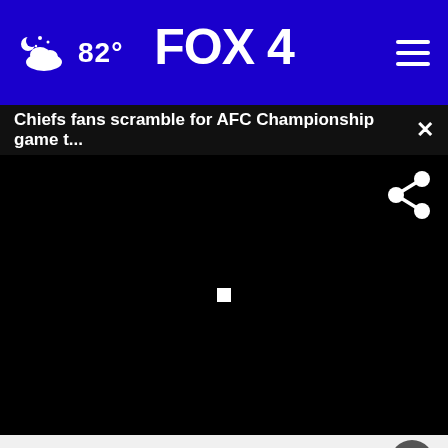82° FOX 4
Chiefs fans scramble for AFC Championship game t... ×
[Figure (screenshot): Black video player area with share icon (top right) and small white square play indicator in center]
Crazy (Try Tonight)
Brillia...
[Figure (infographic): Advertisement overlay: Tires + $40 Off Alignments / Bridgestone Tire Sale with Tires logo and blue navigation arrow]